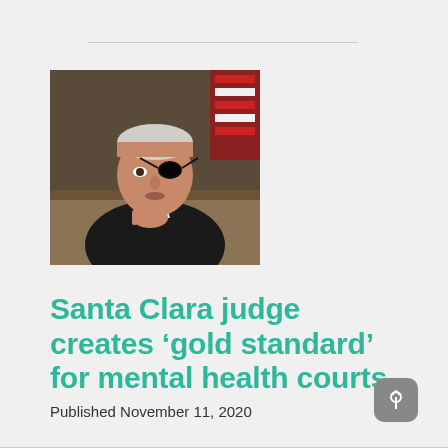[Figure (photo): A judge wearing a black eye patch sitting at a courtroom bench in a black robe, resting his chin on his hand, with a partial view of an American flag in the background.]
Santa Clara judge creates ‘gold standard’ for mental health courts
Published November 11, 2020